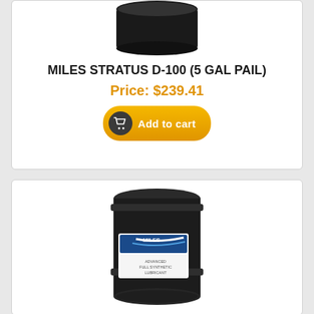[Figure (photo): Black 5-gallon pail product image (top portion visible), Miles Stratus D-100 lubricant]
MILES STRATUS D-100 (5 GAL PAIL)
Price: $239.41
[Figure (photo): Black 55-gallon drum with Miles blue/white label showing full synthetic lubricant product]